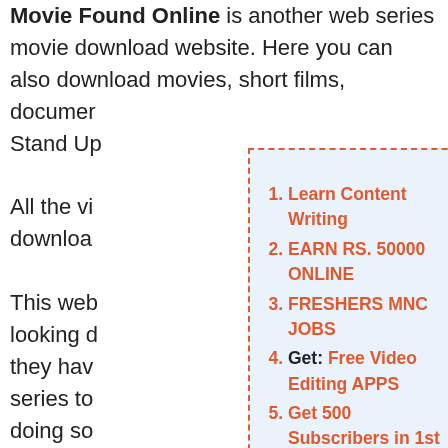Movie Found Online is another web series movie download website. Here you can also download movies, short films, documentaries, Stand Up...
All the vi... download...
This web... looking d... they hav... series to... doing so...
Visit this...
[Figure (screenshot): Popup advertisement with close button (×) and a numbered list of 8 orange bold links: 1. Learn Content Writing, 2. EARN RS. 50000 ONLINE, 3. FRESHERS MNC JOBS, 4. Get: Free Video Editing APPS, 5. Get 500 Subscribers in 1st month, 6. WORK FROM HOME JOBS, 7. MBA BTECH JOBS, 8. BEST INTERVIEW TIPS]